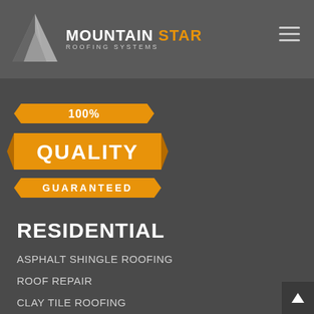[Figure (logo): Mountain Star Roofing Systems logo with stylized M diamond shape and text]
[Figure (infographic): Orange ribbon badge with text: 100% QUALITY GUARANTEED]
RESIDENTIAL
ASPHALT SHINGLE ROOFING
ROOF REPAIR
CLAY TILE ROOFING
METAL ROOFING
ROOF COATINGS
ROOF COATINGS
SKYLIGHTS